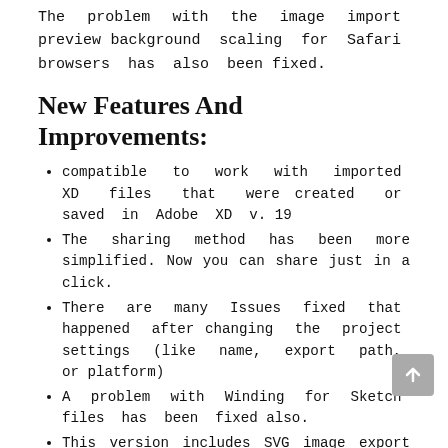The problem with the image import preview background scaling for Safari browsers has also been fixed.
New Features And Improvements:
compatible to work with imported XD files that were created or saved in Adobe XD v. 19
The sharing method has been more simplified. Now you can share just in a click.
There are many Issues fixed that happened after changing the project settings (like name, export path, or platform)
A problem with Winding for Sketch files has been fixed also.
This version includes SVG image export improvements.
It comes with new features and a new look.
Also, it provides you greatly improved performance.
This version contains some bug fixes for enhanced stability.
System Requirements: